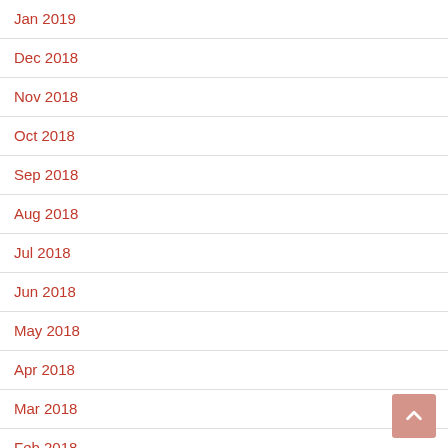Jan 2019
Dec 2018
Nov 2018
Oct 2018
Sep 2018
Aug 2018
Jul 2018
Jun 2018
May 2018
Apr 2018
Mar 2018
Feb 2018
Jan 2018